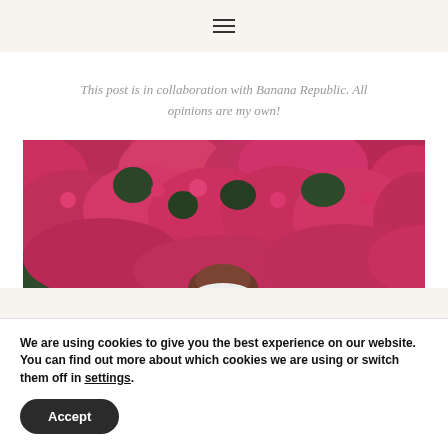☰
This post is in collaboration with Banana Republic. All opinions are my own!
[Figure (photo): A person standing in front of a large wall of bright pink/magenta flowering bushes, with dark green foliage visible throughout. The person has brown hair and is partially visible at the bottom center of the image.]
We are using cookies to give you the best experience on our website.
You can find out more about which cookies we are using or switch them off in settings.
Accept